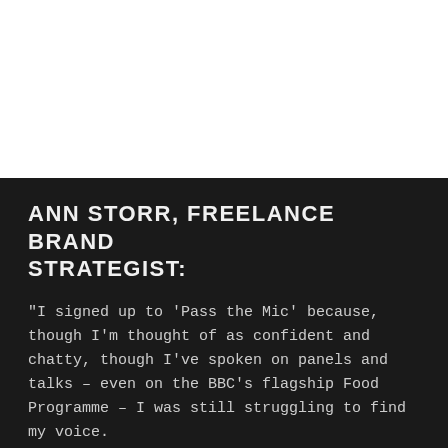[Figure (photo): White/blank top section of the page, representing an image area above the dark content block.]
ANN STORR, FREELANCE BRAND STRATEGIST:
"I signed up to 'Pass the Mic' because, though I'm thought of as confident and chatty, though I've spoken on panels and talks – even on the BBC's flagship Food Programme – I was still struggling to find my voice.
And it was more impactful than I could have dreamed